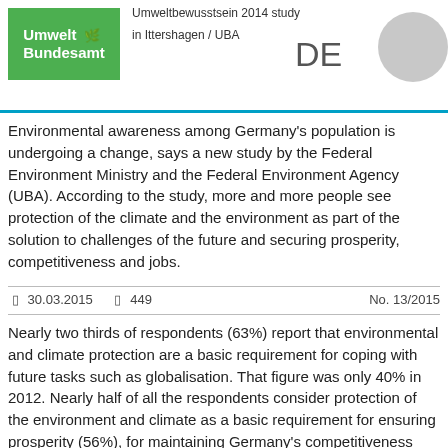Umweltbewusstsein 2014 study — in Ittershagen / UBA — DE
Environmental awareness among Germany's population is undergoing a change, says a new study by the Federal Environment Ministry and the Federal Environment Agency (UBA). According to the study, more and more people see protection of the climate and the environment as part of the solution to challenges of the future and securing prosperity, competitiveness and jobs.
◻ 30.03.2015    ◻ 449    No. 13/2015
Nearly two thirds of respondents (63%) report that environmental and climate protection are a basic requirement for coping with future tasks such as globalisation. That figure was only 40% in 2012. Nearly half of all the respondents consider protection of the environment and climate as a basic requirement for ensuring prosperity (56%), for maintaining Germany's competitiveness (48%) and creating jobs (46%).